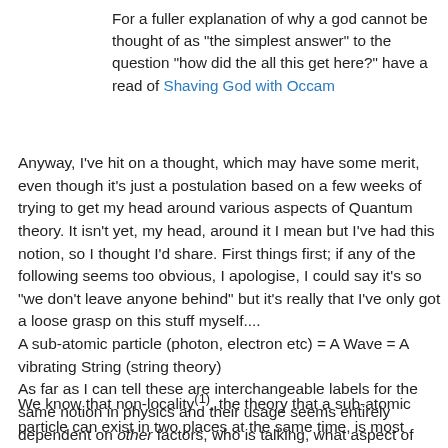For a fuller explanation of why a god cannot be thought of as "the simplest answer" to the question "how did the all this get here?" have a read of Shaving God with Occam
Anyway, I've hit on a thought, which may have some merit, even though it's just a postulation based on a few weeks of trying to get my head around various aspects of Quantum theory. It isn't yet, my head, around it I mean but I've had this notion, so I thought I'd share. First things first; if any of the following seems too obvious, I apologise, I could say it's so "we don't leave anyone behind" but it's really that I've only got a loose grasp on this stuff myself....
A sub-atomic particle (photon, electron etc) = A Wave = A vibrating String (string theory)
As far as I can tell these are interchangeable labels for the same notion in physics and their usage seems entirely dependent on other factors, who is talking, what aspect of physics are being explored or discussed etc but to all intents and purposes they are the same.
We know that non-locality(1), the theory that a sub-atomic particle can exist in two places at the same time, is most